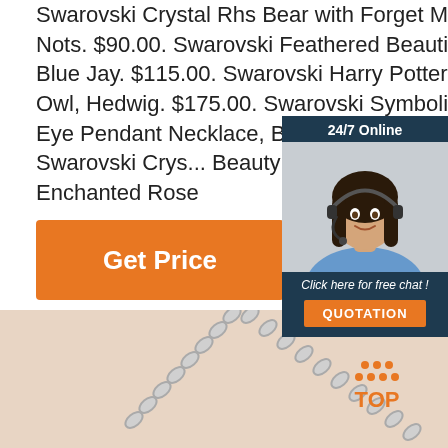Swarovski Crystal Rhs Bear with Forget Me Nots. $90.00. Swarovski Feathered Beauties Blue Jay. $115.00. Swarovski Harry Potters Owl, Hedwig. $175.00. Swarovski Symbolic Evil Eye Pendant Necklace, Blue. $99.00. Swarovski Crys... Beauty and The Beast Enchanted Rose
[Figure (photo): Orange 'Get Price' button]
[Figure (infographic): 24/7 Online chat widget with woman wearing headset, 'Click here for free chat!' text, and orange QUOTATION button]
[Figure (photo): Beige/peach background with silver chain necklace and TOP badge with orange dots logo]